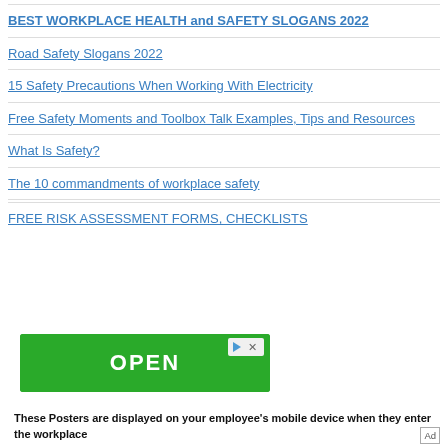BEST WORKPLACE HEALTH and SAFETY SLOGANS 2022
Road Safety Slogans 2022
15 Safety Precautions When Working With Electricity
Free Safety Moments and Toolbox Talk Examples, Tips and Resources
What Is Safety?
The 10 commandments of workplace safety
FREE RISK ASSESSMENT FORMS, CHECKLISTS
[Figure (screenshot): Green OPEN button advertisement banner with ad icons (play and close) in top right corner]
These Posters are displayed on your employee's mobile device when they enter the workplace
Ad